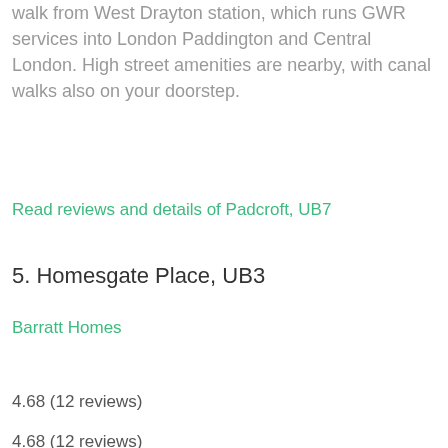walk from West Drayton station, which runs GWR services into London Paddington and Central London. High street amenities are nearby, with canal walks also on your doorstep.
Read reviews and details of Padcroft, UB7
5. Homesgate Place, UB3
Barratt Homes
4.68 (12 reviews)
4.68 (12 reviews)